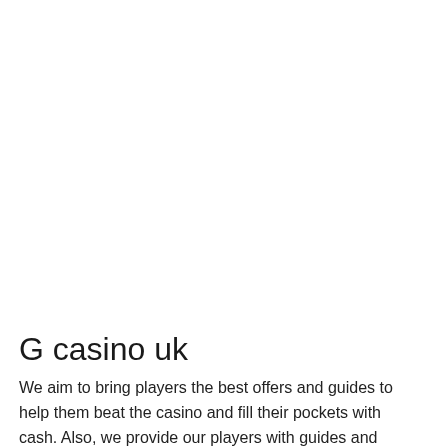G casino uk
We aim to bring players the best offers and guides to help them beat the casino and fill their pockets with cash. Also, we provide our players with guides and strategies for some of the most popular casino games in the